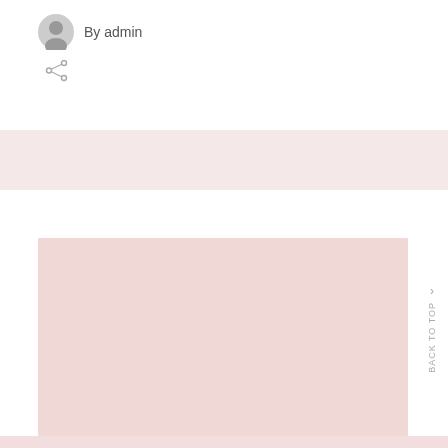By admin
[Figure (illustration): Share icon (network share symbol with three circles connected by lines)]
[Figure (photo): Abstract colorful artwork poster leaning against a pink wall. The poster features fluid, iridescent paint-like shapes in teal, blue, purple, yellow, and pink on a white background, with a dark navy brushstroke at the top.]
Back to top >